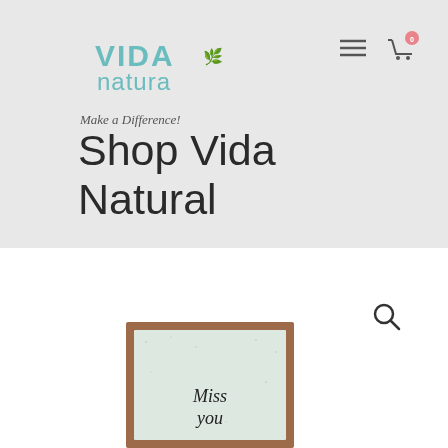[Figure (logo): Vida Natura logo with teal/mint colored text and leaf icon]
[Figure (illustration): Hamburger menu icon (three horizontal lines) and shopping cart icon with badge showing 0]
Make a Difference!
Shop Vida Natural
[Figure (illustration): Search/magnifying glass icon]
[Figure (photo): A greeting card in a wooden frame with text 'Miss you' on speckled paper background, partially visible]